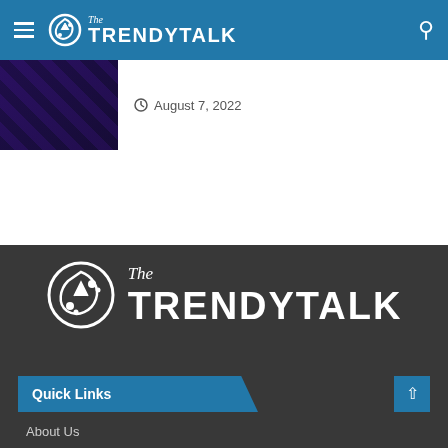The TrendyTalk navigation bar
August 7, 2022
[Figure (screenshot): Dark thumbnail image showing a stage or performance scene]
[Figure (logo): The TrendyTalk logo in white on dark gray background]
Quick Links
About Us